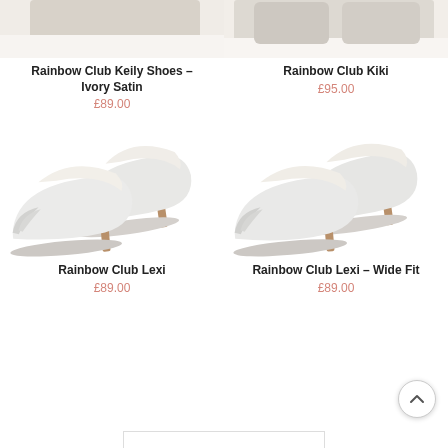[Figure (photo): Partial top view of ivory/beige heeled shoes (Rainbow Club Keily), cropped at top of page]
Rainbow Club Keily Shoes – Ivory Satin
£89.00
[Figure (photo): Partial top view of ivory/beige heeled shoes (Rainbow Club Kiki), cropped at top of page]
Rainbow Club Kiki
£95.00
[Figure (photo): White satin kitten heel pumps with ruched toe detail – Rainbow Club Lexi]
Rainbow Club Lexi
£89.00
[Figure (photo): White satin kitten heel pumps with ruched toe detail, wide fit – Rainbow Club Lexi Wide Fit]
Rainbow Club Lexi – Wide Fit
£89.00